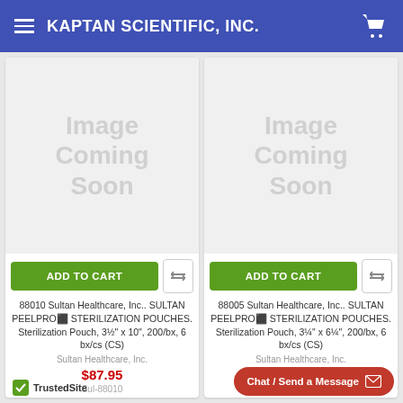KAPTAN SCIENTIFIC, INC.
[Figure (illustration): Image Coming Soon placeholder for product 88010]
ADD TO CART
88010 Sultan Healthcare, Inc.. SULTAN PEELPRO® STERILIZATION POUCHES. Sterilization Pouch, 3½" x 10", 200/bx, 6 bx/cs (CS)
Sultan Healthcare, Inc.
$87.95
Sul-88010
[Figure (illustration): Image Coming Soon placeholder for product 88005]
ADD TO CART
88005 Sultan Healthcare, Inc.. SULTAN PEELPRO® STERILIZATION POUCHES. Sterilization Pouch, 3¼" x 6¼", 200/bx, 6 bx/cs (CS)
Sultan Healthcare, Inc.
$84.37
Sul-88005
TrustedSite
Chat / Send a Message